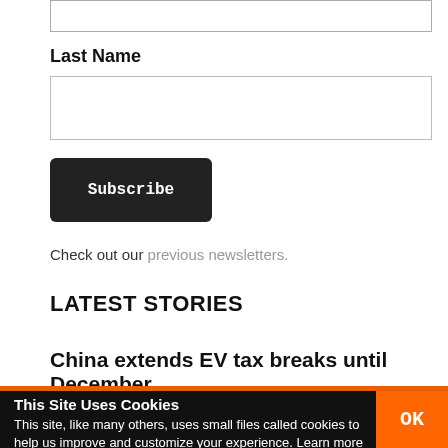Last Name
Subscribe
Check out our previous newsletters.
LATEST STORIES
China extends EV tax breaks until December
This Site Uses Cookies
This site, like many others, uses small files called cookies to help us improve and customize your experience. Learn more about how we use cookies in our cookie policy.
OK